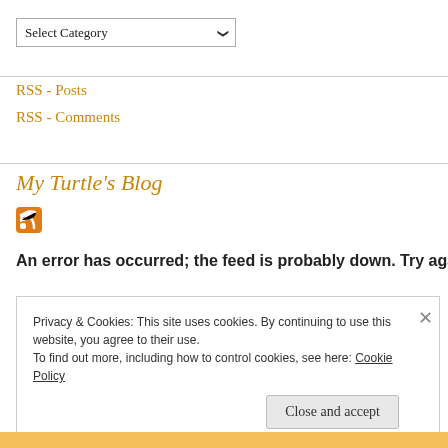[Figure (screenshot): Dropdown select input labeled 'Select Category' with a chevron arrow on the right]
RSS - Posts
RSS - Comments
My Turtle's Blog
[Figure (logo): RSS feed orange icon]
An error has occurred; the feed is probably down. Try again
Privacy & Cookies: This site uses cookies. By continuing to use this website, you agree to their use. To find out more, including how to control cookies, see here: Cookie Policy
Close and accept